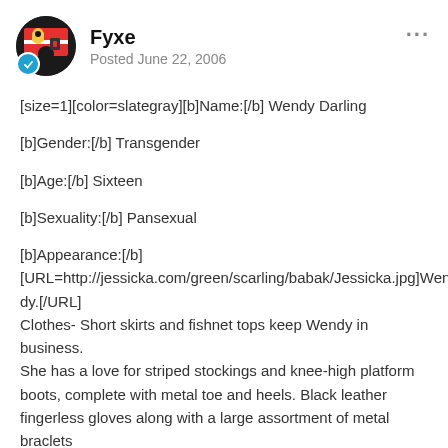Fyxe
Posted June 22, 2006
[size=1][color=slategray][b]Name:[/b] Wendy Darling

[b]Gender:[/b] Transgender

[b]Age:[/b] Sixteen

[b]Sexuality:[/b] Pansexual

[b]Appearance:[/b]
[URL=http://jessicka.com/green/scarling/babak/Jessicka.jpg]Wendy.[/URL]
Clothes- Short skirts and fishnet tops keep Wendy in business. She has a love for striped stockings and knee-high platform boots, complete with metal toe and heels. Black leather fingerless gloves along with a large assortment of metal braclets decorate her forearms. A bold tattoo of an X rests on her right shoulder. Now that she's got it, she flaunts it.
The general colors of her clothes are black, red, purple, and